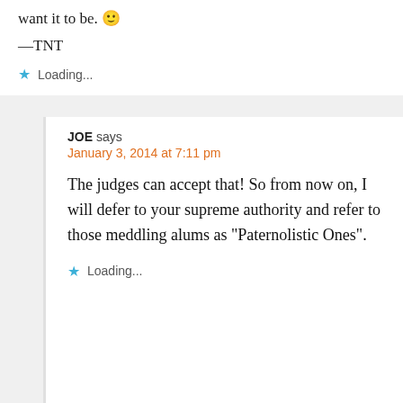want it to be. 🙂
—TNT
Loading...
JOE says
January 3, 2014 at 7:11 pm
The judges can accept that! So from now on, I will defer to your supreme authority and refer to those meddling alums as "Paternolistic Ones".
Loading...